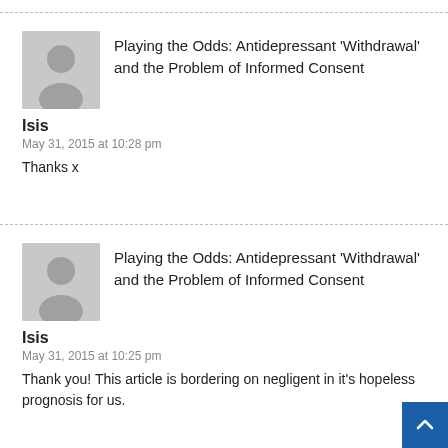[Figure (other): User avatar silhouette placeholder (gray)]
Playing the Odds: Antidepressant 'Withdrawal' and the Problem of Informed Consent
Isis
May 31, 2015 at 10:28 pm
Thanks x
[Figure (other): User avatar silhouette placeholder (gray)]
Playing the Odds: Antidepressant 'Withdrawal' and the Problem of Informed Consent
Isis
May 31, 2015 at 10:25 pm
Thank you! This article is bordering on negligent in it's hopeless prognosis for us.